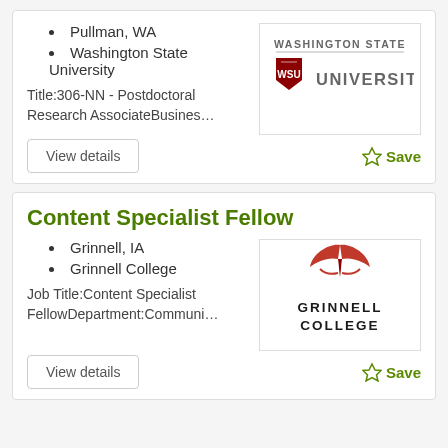Pullman, WA
Washington State University
Title:306-NN - Postdoctoral Research AssociateBusines…
[Figure (logo): Washington State University logo with shield emblem]
View details
Save
Content Specialist Fellow
Grinnell, IA
Grinnell College
Job Title:Content Specialist FellowDepartment:Communi…
[Figure (logo): Grinnell College logo with red book/wing emblem]
View details
Save